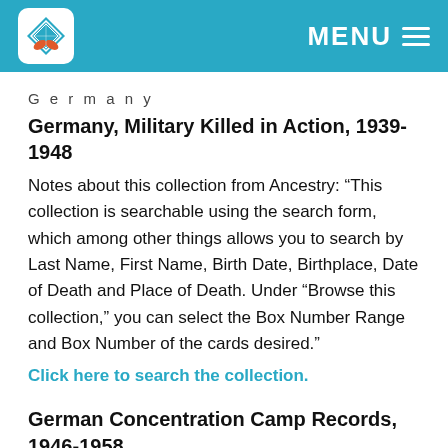MENU
Germany
Germany, Military Killed in Action, 1939-1948
Notes about this collection from Ancestry: “This collection is searchable using the search form, which among other things allows you to search by Last Name, First Name, Birth Date, Birthplace, Date of Death and Place of Death. Under “Browse this collection,” you can select the Box Number Range and Box Number of the cards desired.”
Click here to search the collection.
German Concentration Camp Records, 1946-1958
These records include copies of German records including camp records, transport lists, and